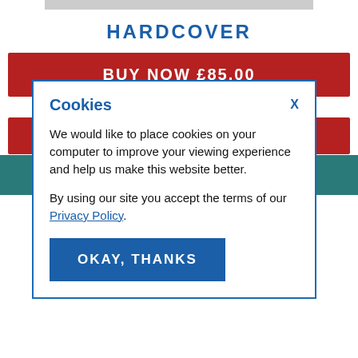HARDCOVER
BUY NOW £85.00
DELIVERY EXC. NORTH AND SOUTH AMERICA
[Figure (screenshot): Cookie consent dialog overlaid on a book purchase page. The dialog has a blue border, title 'Cookies', an X close button, text explaining cookie usage, a Privacy Policy link, and an OKAY, THANKS button. Background shows partial red buy buttons and teal bar.]
Cookies
We would like to place cookies on your computer to improve your viewing experience and help us make this website better.

By using our site you accept the terms of our Privacy Policy.
OKAY, THANKS